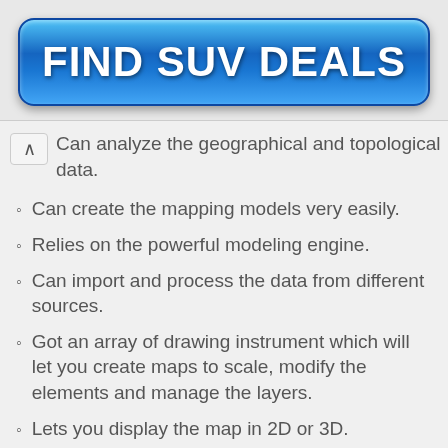[Figure (other): Blue gradient button with white bold text reading FIND SUV DEALS]
Can analyze the geographical and topological data.
Can create the mapping models very easily.
Relies on the powerful modeling engine.
Can import and process the data from different sources.
Got an array of drawing instrument which will let you create maps to scale, modify the elements and manage the layers.
Lets you display the map in 2D or 3D.